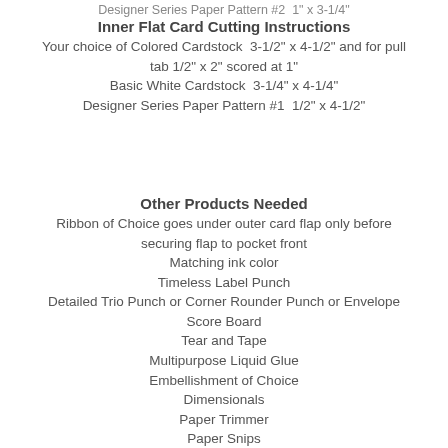Designer Series Paper Pattern #2  1" x 3-1/4"
Inner Flat Card Cutting Instructions
Your choice of Colored Cardstock  3-1/2" x 4-1/2" and for pull tab 1/2" x 2" scored at 1"
Basic White Cardstock  3-1/4" x 4-1/4"
Designer Series Paper Pattern #1  1/2" x 4-1/2"
Other Products Needed
Ribbon of Choice goes under outer card flap only before securing flap to pocket front
Matching ink color
Timeless Label Punch
Detailed Trio Punch or Corner Rounder Punch or Envelope Score Board
Tear and Tape
Multipurpose Liquid Glue
Embellishment of Choice
Dimensionals
Paper Trimmer
Paper Snips
Sentiment of choice and Clear Block
Simply Shammy